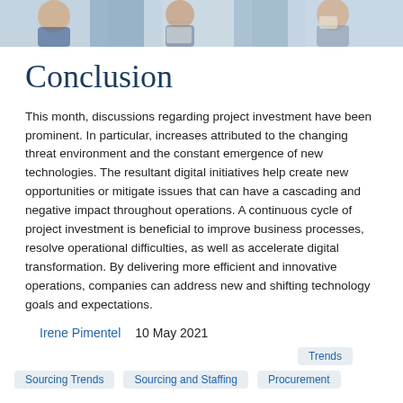[Figure (photo): Cropped banner photo of people in business/office setting, reading newspapers or using devices]
Conclusion
This month, discussions regarding project investment have been prominent. In particular, increases attributed to the changing threat environment and the constant emergence of new technologies. The resultant digital initiatives help create new opportunities or mitigate issues that can have a cascading and negative impact throughout operations. A continuous cycle of project investment is beneficial to improve business processes, resolve operational difficulties, as well as accelerate digital transformation. By delivering more efficient and innovative operations, companies can address new and shifting technology goals and expectations.
Irene Pimentel   10 May 2021
Trends
Sourcing Trends   Sourcing and Staffing   Procurement